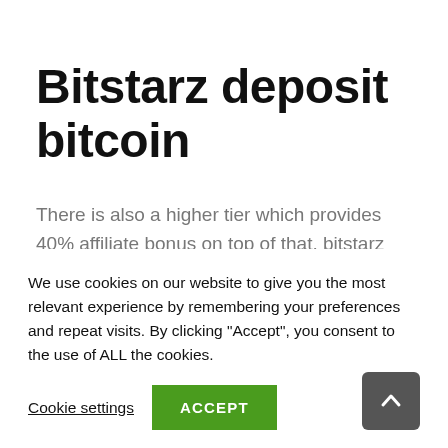Bitstarz deposit bitcoin
There is also a higher tier which provides 40% affiliate bonus on top of that, bitstarz deposit bitcoin.
We use cookies on our website to give you the most relevant experience by remembering your preferences and repeat visits. By clicking “Accept”, you consent to the use of ALL the cookies.
Cookie settings
ACCEPT